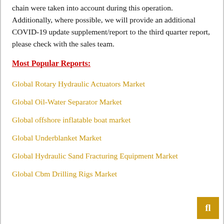chain were taken into account during this operation. Additionally, where possible, we will provide an additional COVID-19 update supplement/report to the third quarter report, please check with the sales team.
Most Popular Reports:
Global Rotary Hydraulic Actuators Market
Global Oil-Water Separator Market
Global offshore inflatable boat market
Global Underblanket Market
Global Hydraulic Sand Fracturing Equipment Market
Global Cbm Drilling Rigs Market